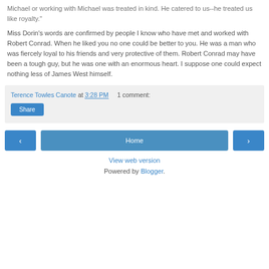Michael or working with Michael was treated in kind. He catered to us--he treated us like royalty."
Miss Dorin's words are confirmed by people I know who have met and worked with Robert Conrad. When he liked you no one could be better to you. He was a man who was fiercely loyal to his friends and very protective of them. Robert Conrad may have been a tough guy, but he was one with an enormous heart. I suppose one could expect nothing less of James West himself.
Terence Towles Canote at 3:28 PM    1 comment:
Share
‹
Home
›
View web version
Powered by Blogger.